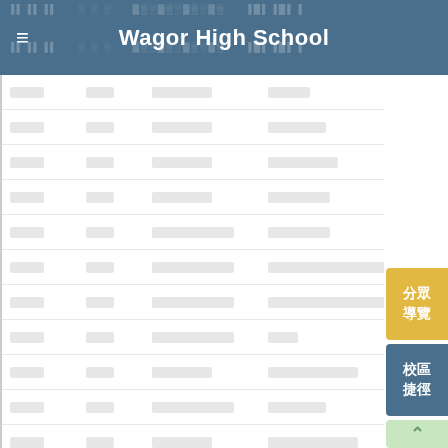Wagor High School
|  |  |  |  |
| --- | --- | --- | --- |
| □□□ | □○□ | □□□□□□ | □□□□ |
| □□□ | □○□ | □□□□□□ | □□□□□□ |
| □□□ | □○□ | □□□□□□ | □□□□□□□ |
| □□□ | □○□ | □□□□□□ | □□□□□□ |
| □□□ | □○□ | □□□□□□□□ | □□□□□□ |
| □□□ | □○□ | □□□□□□□□ | □□□□□□□□□□□□□□□□ |
| □□□ | □○□ | □□□□□□□□ | □□□□□□□□□□□□□ |
| □□□ | □○□ | □□□□□□□□ | □□□ |
| □□□ | □○□ | □□□□□□ | □□□□□□□□□ |
| □□□ | □○□ | □□□□□□□□ | □□□□□□ |
| □□□ | □○□ | □□□□□□ | □□□□□□□□□ |
| □□□ | □○□ | □□□□□□ | □□□□ |
| □□□ | □○□ | □□□□□□ | □□□□□□□□□□ |
分眾導覽
校區捷徑